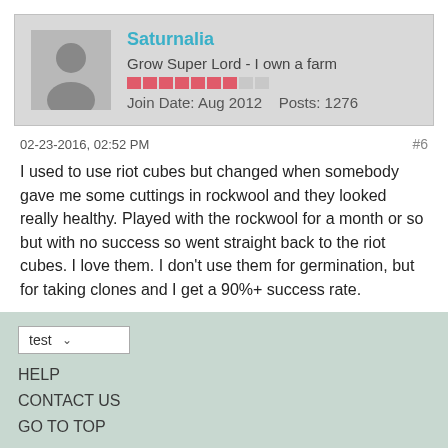Saturnalia
Grow Super Lord - I own a farm
Join Date: Aug 2012    Posts: 1276
02-23-2016, 02:52 PM
#6
I used to use riot cubes but changed when somebody gave me some cuttings in rockwool and they looked really healthy. Played with the rockwool for a month or so but with no success so went straight back to the riot cubes. I love them. I don't use them for germination, but for taking clones and I get a 90%+ success rate.
test
HELP
CONTACT US
GO TO TOP